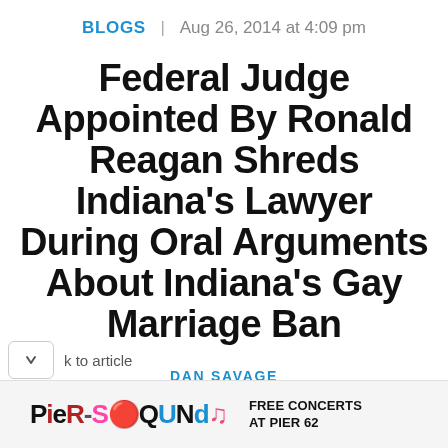BLOGS | Aug 26, 2014 at 4:09 pm
Federal Judge Appointed By Ronald Reagan Shreds Indiana's Lawyer During Oral Arguments About Indiana's Gay Marriage Ban
DAN SAVAGE
k to article
PIER-SOUNDS FREE CONCERTS AT PIER 62